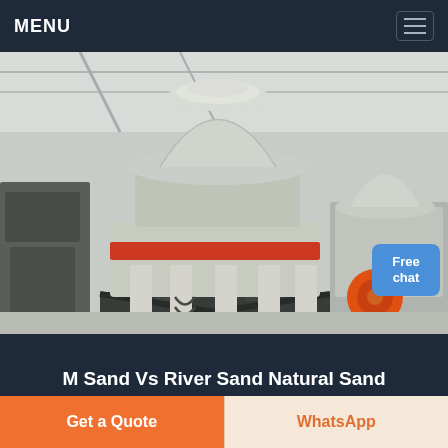MENU
[Figure (photo): Industrial cone crushers (heavy white/grey machinery with red band) photographed inside a manufacturing facility. Multiple large cone crusher units visible on a factory floor.]
M Sand Vs River Sand Natural Sand
00.00.0010 Moisture moisture which is the...
Free chat
Get a Quote
WhatsApp